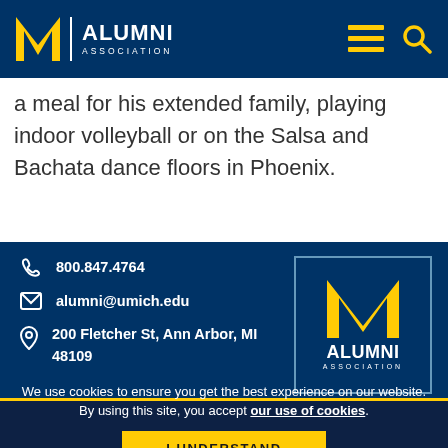M ALUMNI ASSOCIATION
a meal for his extended family, playing indoor volleyball or on the Salsa and Bachata dance floors in Phoenix.
800.847.4764
alumni@umich.edu
200 Fletcher St, Ann Arbor, MI 48109
[Figure (logo): University of Michigan Alumni Association logo with block M in gold and white text on navy background]
We use cookies to ensure you get the best experience on our website. By using this site, you accept our use of cookies.
I UNDERSTAND